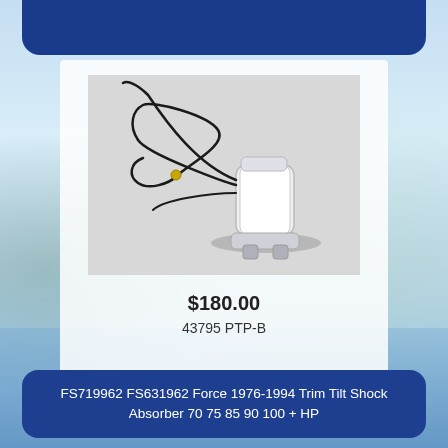[Figure (photo): White cylindrical trim tilt shock absorber with black wiring/cables attached, photographed on light gray background]
$180.00
43795 PTP-B
FS719962 FS631962 Force 1976-1994 Trim Tilt Shock Absorber 70 75 85 90 100 + HP